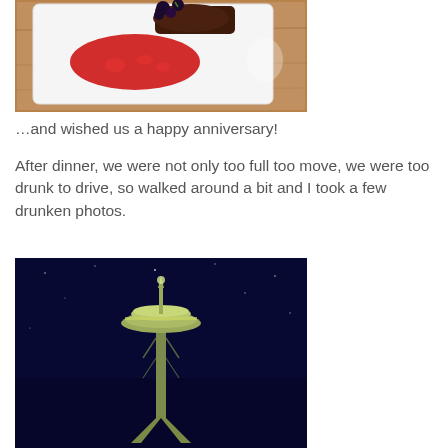[Figure (photo): Photo of a white square plate on a wooden table with a red sauce blob and dark berries/garnish on a dessert]
…and wished us a happy anniversary!
After dinner, we were not only too full too move, we were too drunk to drive, so walked around a bit and I took a few drunken photos.
[Figure (photo): Night photo of the Seattle Space Needle illuminated against a dark blue/black sky]